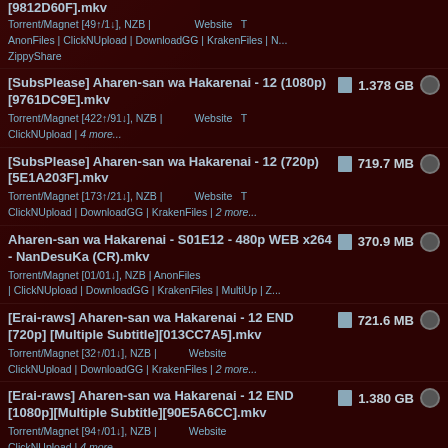[9812D60F].mkv | 49↑/1↓ | NZB | Website | AnonFiles | ClickNUpload | DownloadGG | KrakenFiles | N... ZippyShare
[SubsPlease] Aharen-san wa Hakarenai - 12 (1080p) [9761DC9E].mkv | 1.378 GB | Torrent/Magnet [422↑/91↓], NZB | Website | ClickNUpload | 4 more...
[SubsPlease] Aharen-san wa Hakarenai - 12 (720p) [5E1A203F].mkv | 719.7 MB | Torrent/Magnet [173↑/21↓], NZB | Website | ClickNUpload | DownloadGG | KrakenFiles | 2 more...
Aharen-san wa Hakarenai - S01E12 - 480p WEB x264 - NanDesuKa (CR).mkv | 370.9 MB | Torrent/Magnet [01/01↓], NZB | AnonFiles | ClickNUpload | DownloadGG | KrakenFiles | MultiUp | Z...
[Erai-raws] Aharen-san wa Hakarenai - 12 END [720p][Multiple Subtitle][013CC7A5].mkv | 721.6 MB | Torrent/Magnet [32↑/01↓], NZB | Website | ClickNUpload | DownloadGG | KrakenFiles | 2 more...
[Erai-raws] Aharen-san wa Hakarenai - 12 END [1080p][Multiple Subtitle][90E5A6CC].mkv | 1.380 GB | Torrent/Magnet [94↑/01↓], NZB | Website ClickNUpload | 4 more...